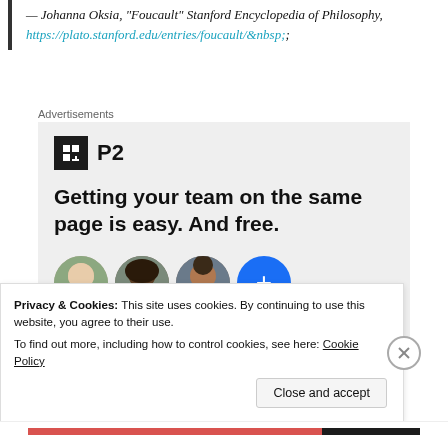— Johanna Oksia, "Foucault" Stanford Encyclopedia of Philosophy, https://plato.stanford.edu/entries/foucault/&nbsp;
Advertisements
[Figure (infographic): P2 advertisement: Logo with black square icon and 'P2' text. Headline reads 'Getting your team on the same page is easy. And free.' Below are circular avatar photos of three people and a blue circle with a plus sign.]
Privacy & Cookies: This site uses cookies. By continuing to use this website, you agree to their use. To find out more, including how to control cookies, see here: Cookie Policy
Close and accept